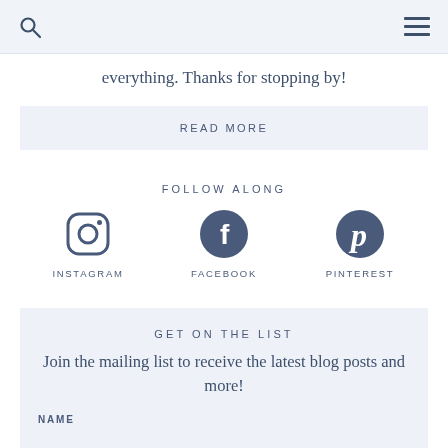everything. Thanks for stopping by!
READ MORE
FOLLOW ALONG
[Figure (infographic): Three social media icons in a row: Instagram (outline camera icon), Facebook (filled circle with f), Pinterest (filled circle with P). Each labeled below.]
GET ON THE LIST
Join the mailing list to receive the latest blog posts and more!
NAME